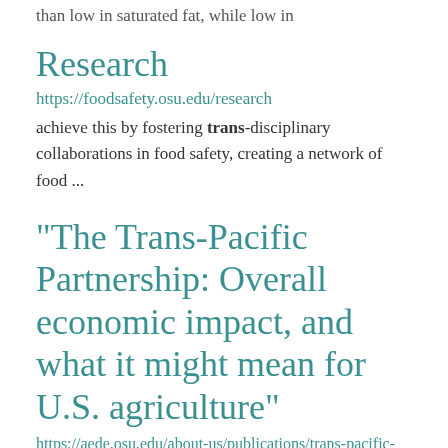than low in saturated fat, while low in
Research
https://foodsafety.osu.edu/research
achieve this by fostering trans-disciplinary collaborations in food safety, creating a network of food ...
"The Trans-Pacific Partnership: Overall economic impact, and what it might mean for U.S. agriculture"
https://aede.osu.edu/about-us/publications/trans-pacific-partnership-overall-economic-impact-and-what-it-might-mean-us
by Sheldon Pullman of The ...